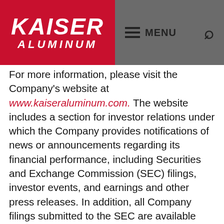[Figure (logo): Kaiser Aluminum logo — white italic text on red background]
For more information, please visit the Company's website at www.kaiseraluminum.com. The website includes a section for investor relations under which the Company provides notifications of news or announcements regarding its financial performance, including Securities and Exchange Commission (SEC) filings, investor events, and earnings and other press releases. In addition, all Company filings submitted to the SEC are available through a link to the section of the SEC's website at www.sec.gov, which includes: Annual Reports on Form 10-K, Quarterly Reports on Form 10-Q, Current Reports on Form 8-K and Proxy Statements for the Company's annual stockholders' meetings, and other information statements as filed with the SEC. In addition, the Company provides a webcast of its quarterly earnings calls and certain